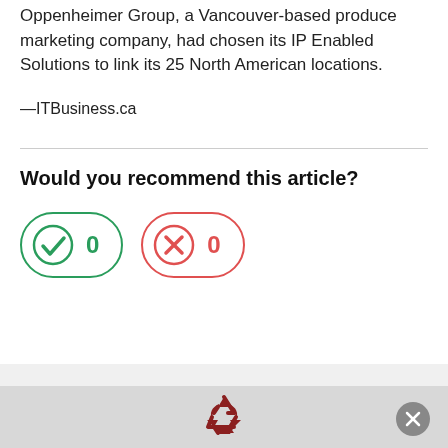Oppenheimer Group, a Vancouver-based produce marketing company, had chosen its IP Enabled Solutions to link its 25 North American locations.
—ITBusiness.ca
Would you recommend this article?
[Figure (infographic): Two voting buttons: a green checkmark button with count 0 (yes), and a red X button with count 0 (no).]
[Figure (logo): Recycling symbol icon in dark red/maroon color in bottom bar. Close button (X) in grey circle at bottom right.]